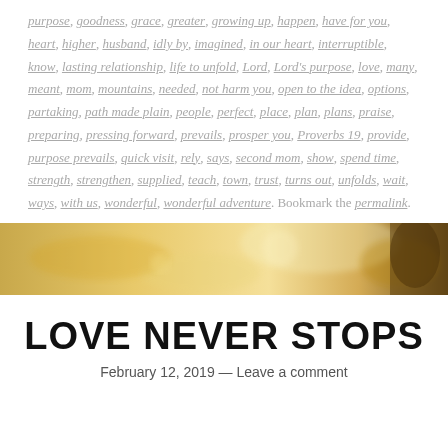purpose, goodness, grace, greater, growing up, happen, have for you, heart, higher, husband, idly by, imagined, in our heart, interruptible, know, lasting relationship, life to unfold, Lord, Lord's purpose, love, many, meant, mom, mountains, needed, not harm you, open to the idea, options, partaking, path made plain, people, perfect, place, plan, plans, praise, preparing, pressing forward, prevails, prosper you, Proverbs 19, provide, purpose prevails, quick visit, rely, says, second mom, show, spend time, strength, strengthen, supplied, teach, town, trust, turns out, unfolds, wait, ways, with us, wonderful, wonderful adventure. Bookmark the permalink.
[Figure (photo): Golden bokeh nature background image, warm golden tones with blurred foliage/grasses]
LOVE NEVER STOPS
February 12, 2019 — Leave a comment